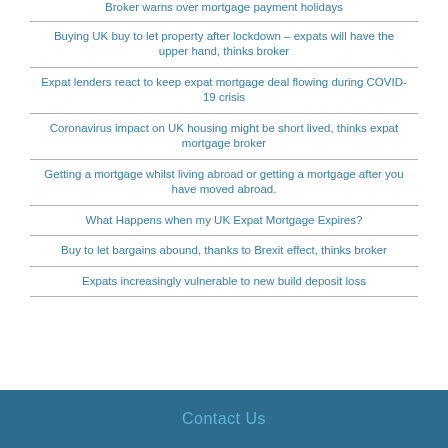Broker warns over mortgage payment holidays
Buying UK buy to let property after lockdown – expats will have the upper hand, thinks broker
Expat lenders react to keep expat mortgage deal flowing during COVID-19 crisis
Coronavirus impact on UK housing might be short lived, thinks expat mortgage broker
Getting a mortgage whilst living abroad or getting a mortgage after you have moved abroad.
What Happens when my UK Expat Mortgage Expires?
Buy to let bargains abound, thanks to Brexit effect, thinks broker
Expats increasingly vulnerable to new build deposit loss
Contact Us